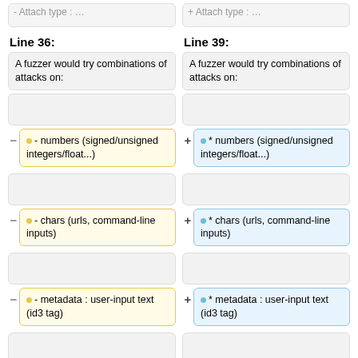[Figure (screenshot): Code diff viewer showing two columns: Line 36 (left, yellow/removed) and Line 39 (right, blue/added). Each column contains a series of boxes: a plain text box saying 'A fuzzer would try combinations of attacks on:', an empty box, then three diff items with minus/plus markers: '- numbers (signed/unsigned integers/float...)', '- chars (urls, command-line inputs)', '- metadata : user-input text (id3 tag)', '- pure binary sequences'. Empty boxes appear between each item.]